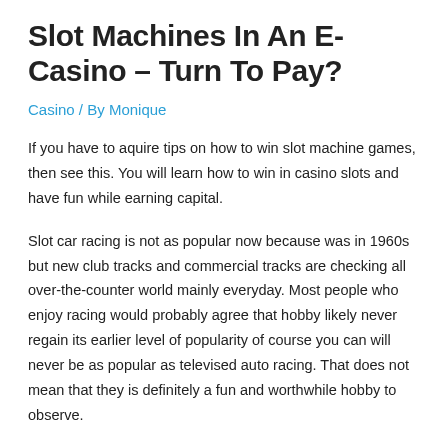Slot Machines In An E-Casino – Turn To Pay?
Casino / By Monique
If you have to aquire tips on how to win slot machine games, then see this. You will learn how to win in casino slots and have fun while earning capital.
Slot car racing is not as popular now because was in 1960s but new club tracks and commercial tracks are checking all over-the-counter world mainly everyday. Most people who enjoy racing would probably agree that hobby likely never regain its earlier level of popularity of course you can will never be as popular as televised auto racing. That does not mean that they is definitely a fun and worthwhile hobby to observe.
Whatever involving games such as to gamble in, could certainly be without those games can provide you with a lot of fun and also the